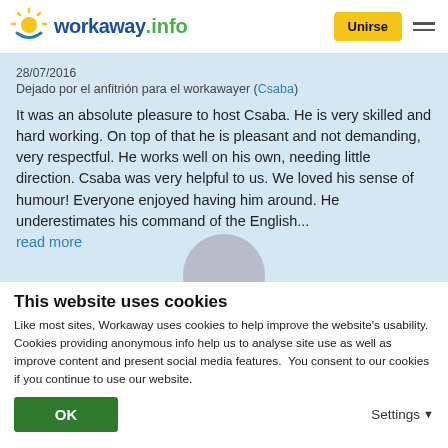workaway.info | Unirse
28/07/2016
Dejado por el anfitrión para el workawayer (Csaba)
It was an absolute pleasure to host Csaba. He is very skilled and hard working. On top of that he is pleasant and not demanding, very respectful. He works well on his own, needing little direction. Csaba was very helpful to us. We loved his sense of humour! Everyone enjoyed having him around. He underestimates his command of the English...
read more
This website uses cookies
Like most sites, Workaway uses cookies to help improve the website's usability. Cookies providing anonymous info help us to analyse site use as well as improve content and present social media features.  You consent to our cookies if you continue to use our website.
OK
Settings